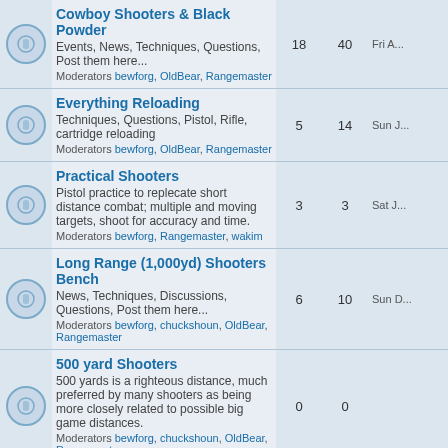|  | Forum | Topics | Posts | Last Post |
| --- | --- | --- | --- | --- |
|  | Cowboy Shooters & Black Powder
Events, News, Techniques, Questions, Post them here...
Moderators bewforg, OldBear, Rangemaster | 18 | 40 | Fri A... |
|  | Everything Reloading
Techniques, Questions, Pistol, Rifle, cartridge reloading
Moderators bewforg, OldBear, Rangemaster | 5 | 14 | Sun J... |
|  | Practical Shooters
Pistol practice to replecate short distance combat; multiple and moving targets, shoot for accuracy and time.
Moderators bewforg, Rangemaster, wakim | 3 | 3 | Sat J... |
|  | Long Range (1,000yd) Shooters Bench
News, Techniques, Discussions, Questions, Post them here...
Moderators bewforg, chuckshoun, OldBear, Rangemaster | 6 | 10 | Sun D... |
|  | 500 yard Shooters
500 yards is a righteous distance, much preferred by many shooters as being more closely related to possible big game distances.
Moderators bewforg, chuckshoun, OldBear, Rangemaster | 0 | 0 |  |
|  | Pellet Gun Shooters
Pellet gun shooters have become a highly competitive bunch. Whether you have an entry model or one that cost the same as a small car, this is the place for Pellet gun discussions. Organize your group here!
Moderators bewforg, OldBear, Rangemaster | 3 | 4 | Wed M... |
|  | BB Gun Shooters
Nearly everyone who is a shooter started out with a BB gun. This Forum is for everything BB gun related. Want a BB gun contest? This is... | 1 | 1 | Tue J... |